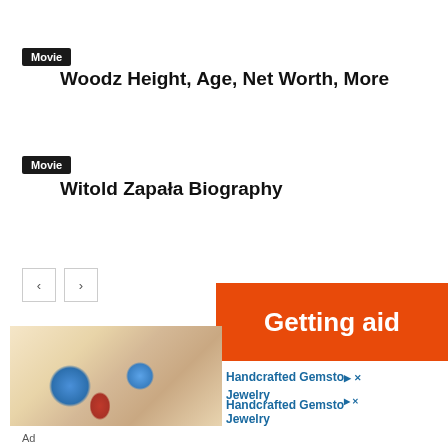Movie
Woodz Height, Age, Net Worth, More
Movie
Witold Zapała Biography
[Figure (other): Navigation previous and next arrow buttons]
[Figure (other): Advertisement banner with orange header saying 'Getting aid', image of handcrafted gemstone jewelry, and ad label]
Handcrafted Gemsto Jewelry
Ad